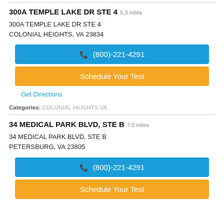300A TEMPLE LAKE DR STE 4  5.3 miles
300A TEMPLE LAKE DR STE 4
COLONIAL HEIGHTS, VA 23834
(800)-221-4291
Schedule Your Test
Get Directions
Categories: COLONIAL HEIGHTS VA
34 MEDICAL PARK BLVD, STE B  7.0 miles
34 MEDICAL PARK BLVD, STE B
PETERSBURG, VA 23805
(800)-221-4291
Schedule Your Test